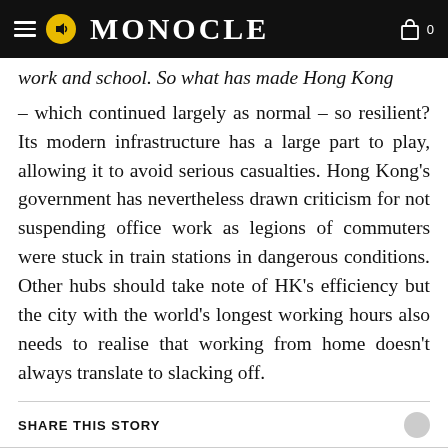MONOCLE
work and school. So what has made Hong Kong – which continued largely as normal – so resilient? Its modern infrastructure has a large part to play, allowing it to avoid serious casualties. Hong Kong's government has nevertheless drawn criticism for not suspending office work as legions of commuters were stuck in train stations in dangerous conditions. Other hubs should take note of HK's efficiency but the city with the world's longest working hours also needs to realise that working from home doesn't always translate to slacking off.
SHARE THIS STORY